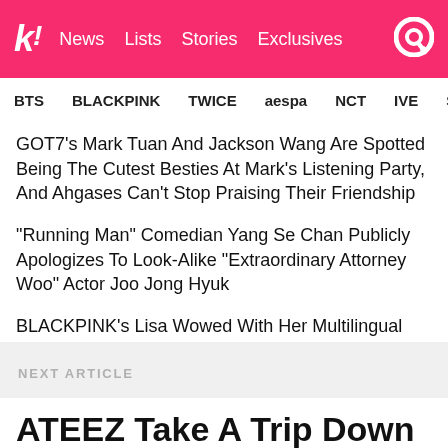k! News Lists Stories Exclusives
BTS BLACKPINK TWICE aespa NCT IVE SEVE
GOT7’s Mark Tuan And Jackson Wang Are Spotted Being The Cutest Besties At Mark’s Listening Party, And Ahgases Can’t Stop Praising Their Friendship
"Running Man" Comedian Yang Se Chan Publicly Apologizes To Look-Alike "Extraordinary Attorney Woo" Actor Joo Jong Hyuk
BLACKPINK’s Lisa Wowed With Her Multilingual 2022 VMAs Speech, But BLINKs Noticed Something Heartwarming About Her Words
NEXT ARTICLE
ATEEZ Take A Trip Down